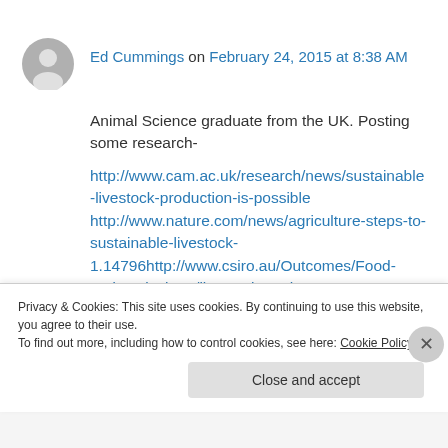[Figure (illustration): Grey circular user avatar icon]
Ed Cummings on February 24, 2015 at 8:38 AM
Animal Science graduate from the UK. Posting some research- http://www.cam.ac.uk/research/news/sustainable-livestock-production-is-possible http://www.nature.com/news/agriculture-steps-to-sustainable-livestock-1.14796http://www.csiro.au/Outcomes/Food-and-Agriculture/livestock-methane-
Privacy & Cookies: This site uses cookies. By continuing to use this website, you agree to their use. To find out more, including how to control cookies, see here: Cookie Policy
Close and accept